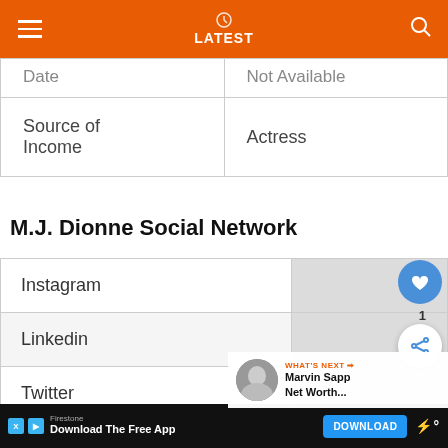LATEST
|  |  |
| --- | --- |
| Date | Not Available |
| Source of Income | Actress |
M.J. Dionne Social Network
|  |  |
| --- | --- |
| Instagram |  |
| Linkedin |  |
| Twitter |  |
| Facebook |  |